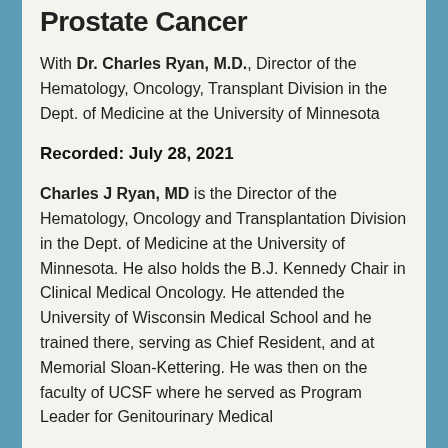Prostate Cancer (partial)
With Dr. Charles Ryan, M.D., Director of the Hematology, Oncology, Transplant Division in the Dept. of Medicine at the University of Minnesota
Recorded: July 28, 2021
Charles J Ryan, MD is the Director of the Hematology, Oncology and Transplantation Division in the Dept. of Medicine at the University of Minnesota. He also holds the B.J. Kennedy Chair in Clinical Medical Oncology. He attended the University of Wisconsin Medical School and he trained there, serving as Chief Resident, and at Memorial Sloan-Kettering. He was then on the faculty of UCSF where he served as Program Leader for Genitourinary Medical (continues)